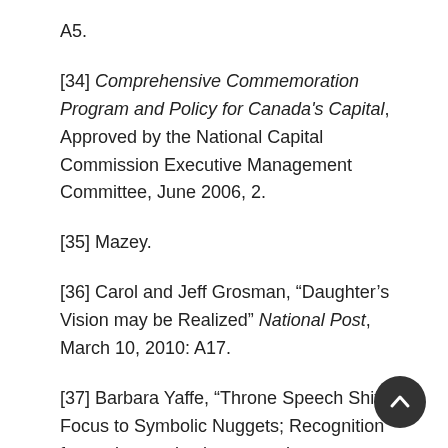A5.
[34] Comprehensive Commemoration Program and Policy for Canada's Capital, Approved by the National Capital Commission Executive Management Committee, June 2006, 2.
[35] Mazey.
[36] Carol and Jeff Grosman, “Daughter’s Vision may be Realized” National Post, March 10, 2010: A17.
[37] Barbara Yaffe, “Throne Speech Shifts Focus to Symbolic Nuggets; Recognition for seniors and volunteers, changes to national anthem, new immigration museum provide something for everyone,” The Vancouver Sun, March 4, 2010: